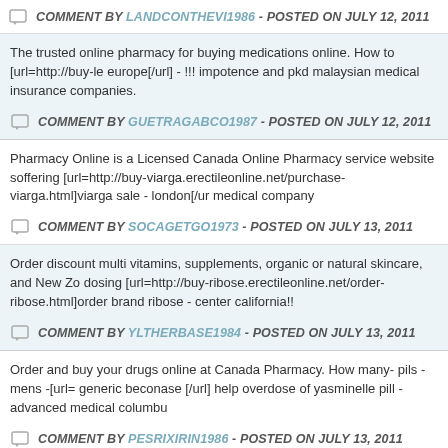COMMENT BY LANDCONTHEVI1986 - POSTED ON JULY 12, 2011
The trusted online pharmacy for buying medications online. How to [url=http://buy-le europe[/url] - !!! impotence and pkd malaysian medical insurance companies.
COMMENT BY GUETRAGABCO1987 - POSTED ON JULY 12, 2011
Pharmacy Online is a Licensed Canada Online Pharmacy service website soffering [url=http://buy-viarga.erectileonline.net/purchase-viarga.html]viarga sale - london[/ur medical company
COMMENT BY SOCAGETGO1973 - POSTED ON JULY 13, 2011
Order discount multi vitamins, supplements, organic or natural skincare, and New Zo dosing [url=http://buy-ribose.erectileonline.net/order-ribose.html]order brand ribose - center california!!
COMMENT BY YLTHERBASE1984 - POSTED ON JULY 13, 2011
Order and buy your drugs online at Canada Pharmacy. How many- pils - mens -[url= generic beconase [/url] help overdose of yasminelle pill -advanced medical columbu
COMMENT BY PESRIXIRIN1986 - POSTED ON JULY 13, 2011
When done through licensed online pharmacies that require a prescription,- How mu